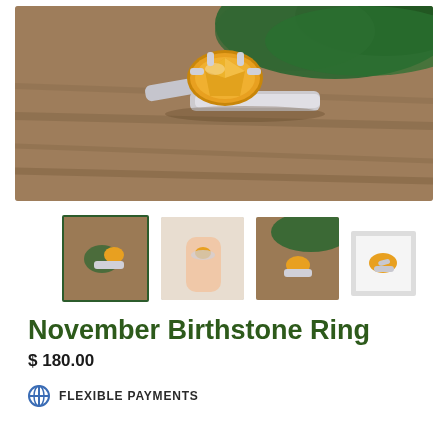[Figure (photo): Main product photo of a silver ring with an oval amber/citrine gemstone set in silver prongs, resting on a wooden surface with green pine/cypress foliage in the background]
[Figure (photo): Thumbnail 1: ring with amber stone on wooden surface with green foliage, selected/active state with green border]
[Figure (photo): Thumbnail 2: ring worn on a hand, showing amber gemstone]
[Figure (photo): Thumbnail 3: ring with green foliage background]
[Figure (photo): Thumbnail 4: small ring image on white background]
November Birthstone Ring
$ 180.00
FLEXIBLE PAYMENTS